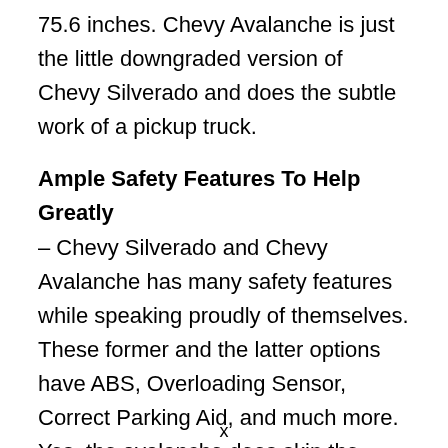75.6 inches. Chevy Avalanche is just the little downgraded version of Chevy Silverado and does the subtle work of a pickup truck.
Ample Safety Features To Help Greatly
– Chevy Silverado and Chevy Avalanche has many safety features while speaking proudly of themselves. These former and the latter options have ABS, Overloading Sensor, Correct Parking Aid, and much more. Yes, the avalanche does skip the